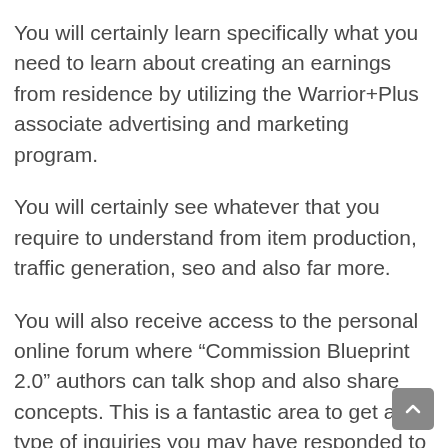You will certainly learn specifically what you need to learn about creating an earnings from residence by utilizing the Warrior+Plus associate advertising and marketing program.
You will certainly see whatever that you require to understand from item production, traffic generation, seo and also far more.
You will also receive access to the personal online forum where “Commission Blueprint 2.0” authors can talk shop and also share concepts. This is a fantastic area to get any type of inquiries you may have responded to before purchasing the program. You won’t find this anywhere else.
If you have been attempting to make money with associate